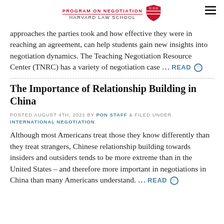PROGRAM ON NEGOTIATION HARVARD LAW SCHOOL
approaches the parties took and how effective they were in reaching an agreement, can help students gain new insights into negotiation dynamics. The Teaching Negotiation Resource Center (TNRC) has a variety of negotiation case … READ ○
The Importance of Relationship Building in China
POSTED AUGUST 4TH, 2022 BY PON STAFF & FILED UNDER INTERNATIONAL NEGOTIATION.
Although most Americans treat those they know differently than they treat strangers, Chinese relationship building towards insiders and outsiders tends to be more extreme than in the United States – and therefore more important in negotiations in China than many Americans understand. … READ ○